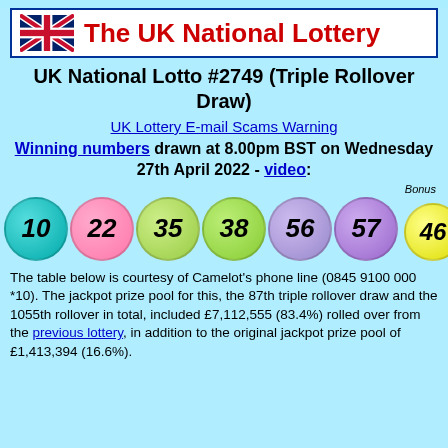The UK National Lottery
UK National Lotto #2749 (Triple Rollover Draw)
UK Lottery E-mail Scams Warning
Winning numbers drawn at 8.00pm BST on Wednesday 27th April 2022 - video:
[Figure (infographic): Seven lottery balls showing numbers 10, 22, 35, 38, 56, 57, and bonus ball 46. Balls are cyan, pink, green, lime, lavender, purple, and yellow respectively.]
The table below is courtesy of Camelot's phone line (0845 9100 000 *10). The jackpot prize pool for this, the 87th triple rollover draw and the 1055th rollover in total, included £7,112,555 (83.4%) rolled over from the previous lottery, in addition to the original jackpot prize pool of £1,413,394 (16.6%).